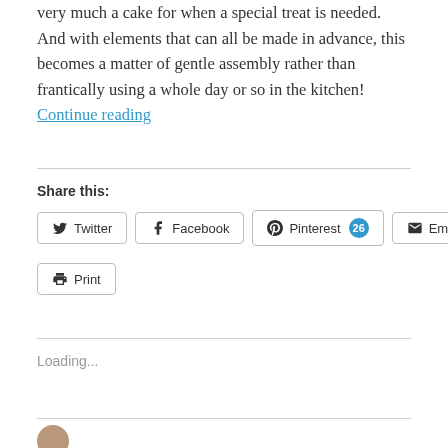very much a cake for when a special treat is needed. And with elements that can all be made in advance, this becomes a matter of gentle assembly rather than frantically using a whole day or so in the kitchen! Continue reading
Share this:
[Figure (other): Social share buttons: Twitter, Facebook, Pinterest (26), Email, Print]
Loading...